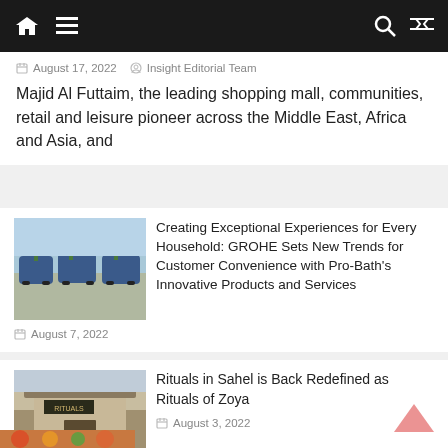Navigation bar with home, menu, search, shuffle icons
August 17, 2022   Insight Editorial Team
Majid Al Futtaim, the leading shopping mall, communities, retail and leisure pioneer across the Middle East, Africa and Asia, and
[Figure (photo): Three blue vans parked in a row in a parking lot with trees and sky in the background]
Creating Exceptional Experiences for Every Household: GROHE Sets New Trends for Customer Convenience with Pro-Bath's Innovative Products and Services
August 7, 2022
[Figure (photo): Exterior of a Rituals spa building with stone facade, wooden awning, plants, and signage reading RITUALS]
Rituals in Sahel is Back Redefined as Rituals of Zoya
August 3, 2022
[Figure (photo): Colorful food image partially visible at bottom of page]